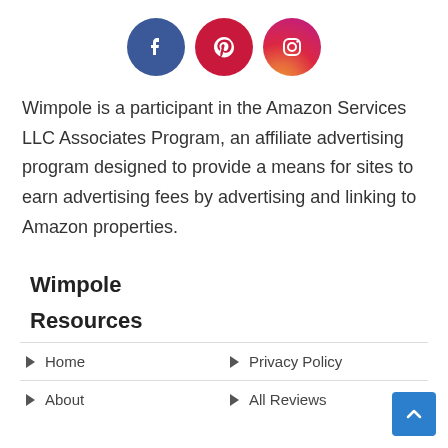[Figure (illustration): Three social media icon circles: Facebook (dark blue), Pinterest (red), Instagram (gradient pink/red)]
Wimpole is a participant in the Amazon Services LLC Associates Program, an affiliate advertising program designed to provide a means for sites to earn advertising fees by advertising and linking to Amazon properties.
Wimpole
Resources
Home
Privacy Policy
About
All Reviews